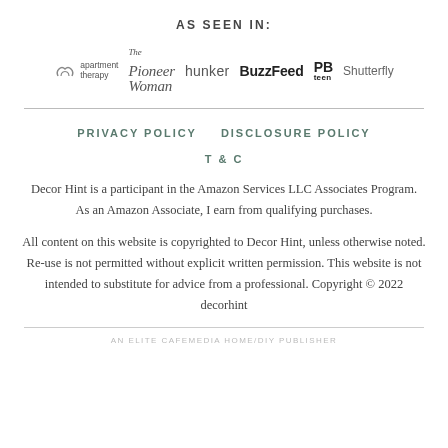AS SEEN IN:
[Figure (logo): Row of media brand logos: apartment therapy, The Pioneer Woman, hunker, BuzzFeed, PB teen, Shutterfly]
PRIVACY POLICY   DISCLOSURE POLICY
T & C
Decor Hint is a participant in the Amazon Services LLC Associates Program. As an Amazon Associate, I earn from qualifying purchases.
All content on this website is copyrighted to Decor Hint, unless otherwise noted. Re-use is not permitted without explicit written permission. This website is not intended to substitute for advice from a professional. Copyright © 2022 decorhint
AN ELITE CAFEMEDIA HOME/DIY PUBLISHER